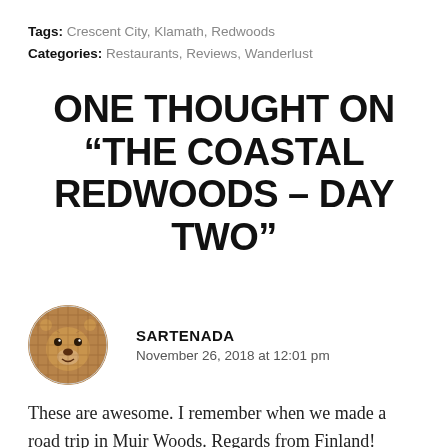Tags: Crescent City, Klamath, Redwoods
Categories: Restaurants, Reviews, Wanderlust
ONE THOUGHT ON “THE COASTAL REDWOODS – DAY TWO”
SARTENADA
November 26, 2018 at 12:01 pm
These are awesome. I remember when we made a road trip in Muir Woods. Regards from Finland!